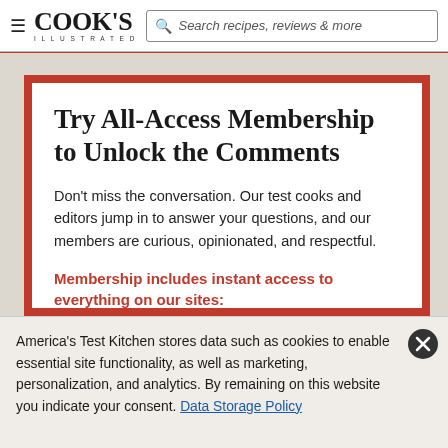≡ COOK'S ILLUSTRATED | Search recipes, reviews & more
Try All-Access Membership to Unlock the Comments
Don't miss the conversation. Our test cooks and editors jump in to answer your questions, and our members are curious, opinionated, and respectful.
Membership includes instant access to everything on our sites:
America's Test Kitchen stores data such as cookies to enable essential site functionality, as well as marketing, personalization, and analytics. By remaining on this website you indicate your consent. Data Storage Policy